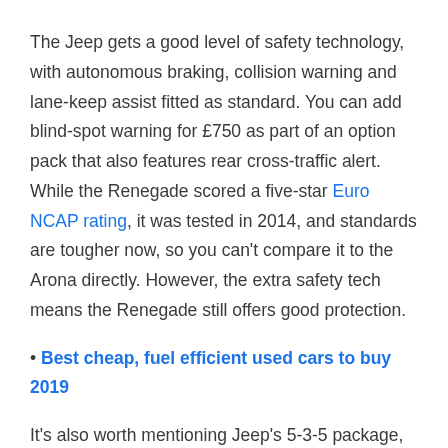The Jeep gets a good level of safety technology, with autonomous braking, collision warning and lane-keep assist fitted as standard. You can add blind-spot warning for £750 as part of an option pack that also features rear cross-traffic alert. While the Renegade scored a five-star Euro NCAP rating, it was tested in 2014, and standards are tougher now, so you can't compare it to the Arona directly. However, the extra safety tech means the Renegade still offers good protection.
• Best cheap, fuel efficient used cars to buy 2019
It's also worth mentioning Jeep's 5-3-5 package, with its five-year warranty, three years of free servicing and five-